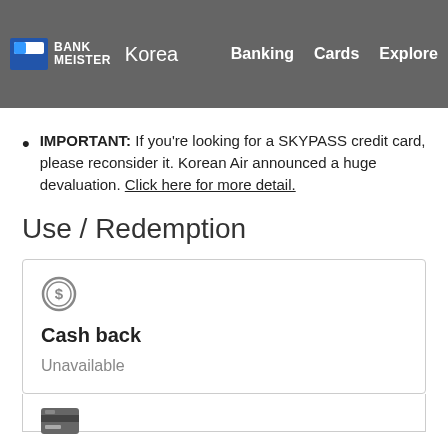BANK MEISTER Korea | Banking | Cards | Explore
IMPORTANT: If you're looking for a SKYPASS credit card, please reconsider it. Korean Air announced a huge devaluation. Click here for more detail.
Use / Redemption
Cash back
Unavailable
[Figure (other): Credit card icon at bottom of page]